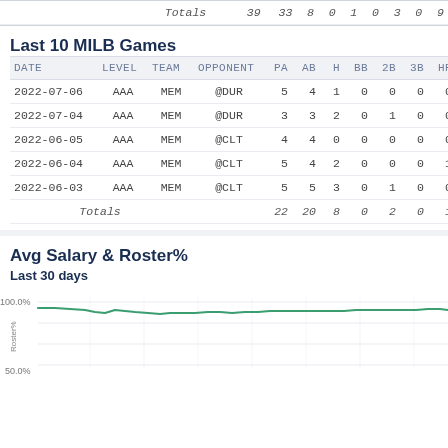| DATE | LEVEL | TEAM | OPPONENT | PA | AB | H | BB | 2B | 3B | HR | ... |
| --- | --- | --- | --- | --- | --- | --- | --- | --- | --- | --- | --- |
| Totals |  |  |  | 39 | 33 | 8 | 0 | 1 | 0 | 3 | 0 | 9 |
| 2022-07-06 | AAA | MEM | @DUR | 5 | 4 | 1 | 0 | 0 | 0 | 0 | 0 |
| 2022-07-04 | AAA | MEM | @DUR | 3 | 3 | 2 | 0 | 1 | 0 | 0 | 0 |
| 2022-06-05 | AAA | MEM | @CLT | 4 | 4 | 0 | 0 | 0 | 0 | 0 | 0 |
| 2022-06-04 | AAA | MEM | @CLT | 5 | 4 | 2 | 0 | 0 | 0 | 1 | 2 |
| 2022-06-03 | AAA | MEM | @CLT | 5 | 5 | 3 | 0 | 1 | 0 | 0 | 1 |
| Totals |  |  |  | 22 | 20 | 8 | 0 | 2 | 0 | 1 | 3 |
Last 10 MILB Games
Avg Salary & Roster%
Last 30 days
[Figure (line-chart): Line chart showing roster percentage over last 30 days, hovering near 90-100% range throughout the period, with a slight dip early on]